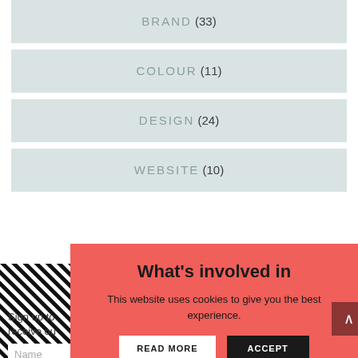BRAND (33)
COLOUR (11)
DESIGN (24)
WEBSITE (10)
[Figure (illustration): Black and white diagonal stripes pattern on the left side of a salmon/red background section]
What's involved in
Sign up to receive ou
Name
This website uses cookies to give you the best experience.
READ MORE
ACCEPT